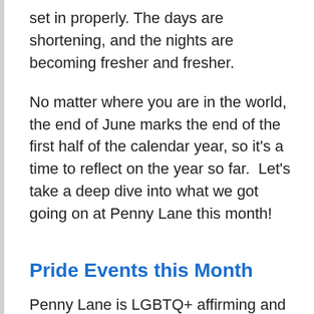set in properly. The days are shortening, and the nights are becoming fresher and fresher.
No matter where you are in the world, the end of June marks the end of the first half of the calendar year, so it's a time to reflect on the year so far.  Let's take a deep dive into what we got going on at Penny Lane this month!
Pride Events this Month
Penny Lane is LGBTQ+ affirming and thus we fully support any way you want to celebrate